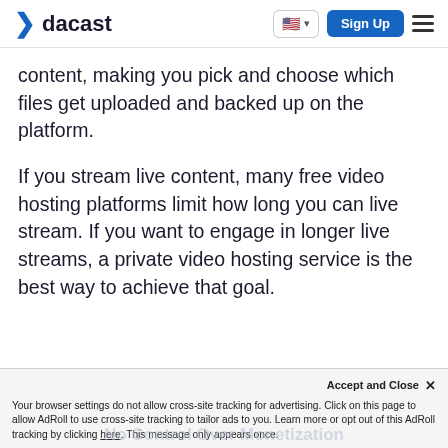dacast — Sign Up
content, making you pick and choose which files get uploaded and backed up on the platform.
If you stream live content, many free video hosting platforms limit how long you can live stream. If you want to engage in longer live streams, a private video hosting service is the best way to achieve that goal.
Accept and Close ✕
Your browser settings do not allow cross-site tracking for advertising. Click on this page to allow AdRoll to use cross-site tracking to tailor ads to you. Learn more or opt out of this AdRoll tracking by clicking here. This message only appears once.